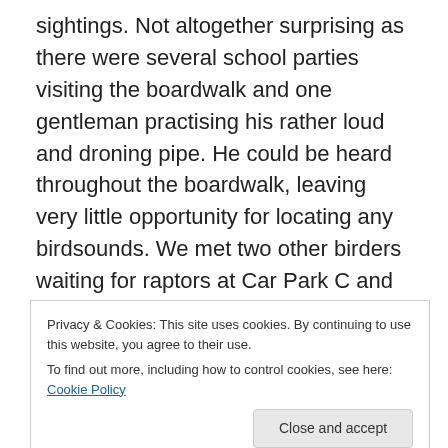sightings. Not altogether surprising as there were several school parties visiting the boardwalk and one gentleman practising his rather loud and droning pipe. He could be heard throughout the boardwalk, leaving very little opportunity for locating any birdsounds. We met two other birders waiting for raptors at Car Park C and following friendly advice and stories, we decided a change of scenery may bring a change of luck. Whether it was nostalgia, desperation or something else, we decided to head for Bidadari where there had been some cuckoo reports recently.
Privacy & Cookies: This site uses cookies. By continuing to use this website, you agree to their use.
To find out more, including how to control cookies, see here: Cookie Policy
yes, Barry Valentine in January. It was our first return to